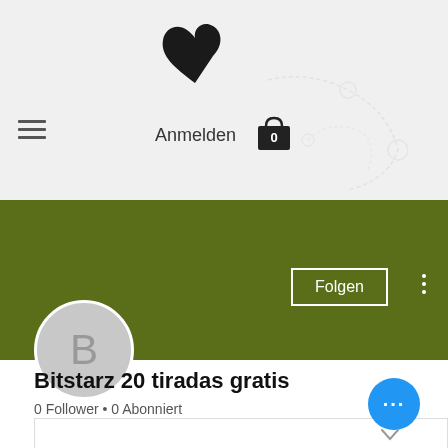[Figure (screenshot): Website header with hamburger menu icon on left, logo (heart/leaf shape) at top center, 'Anmelden' text and shopping bag icon with '0' badge in center. Below is an olive/green banner section with 'Folgen' button and three-dot menu. A circular gray avatar with letter 'B' overlaps the bottom of the banner.]
Bitstarz 20 tiradas gratis
0 Follower • 0 Abonniert
[Figure (screenshot): Blue circular button with three white dots (ellipsis) in bottom right, and a white border box visible at the bottom of the page.]